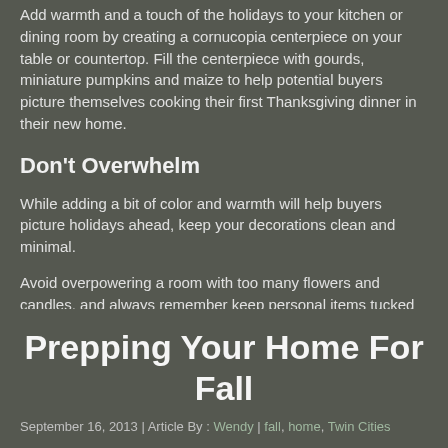Add warmth and a touch of the holidays to your kitchen or dining room by creating a cornucopia centerpiece on your table or countertop. Fill the centerpiece with gourds, miniature pumpkins and maize to help potential buyers picture themselves cooking their first Thanksgiving dinner in their new home.
Don't Overwhelm
While adding a bit of color and warmth will help buyers picture holidays ahead, keep your decorations clean and minimal.
Avoid overpowering a room with too many flowers and candles, and always remember keep personal items tucked away.
Even if the piece is holiday or fall themed, buyers like to picture their own decorations in a home.
Prepping Your Home For Fall
September 16, 2013 | Article By : Wendy | fall, home, Twin Cities